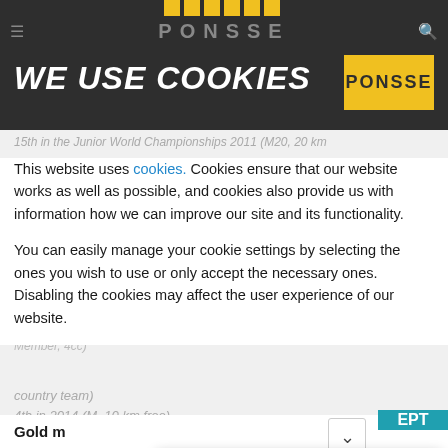WE USE COOKIES
This website uses cookies. Cookies ensure that our website works as well as possible, and cookies also provide us with information how we can improve our site and its functionality.
You can easily manage your cookie settings by selecting the ones you wish to use or only accept the necessary ones. Disabling the cookies may affect the user experience of our website.
How likely are you to recommend us to a friend or colleague?
Reply
Privacy
Gold m